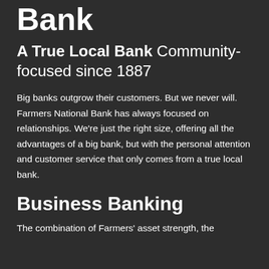Farmers National Bank
A True Local Bank Community-focused since 1887
Big banks outgrow their customers. But we never will. Farmers National Bank has always focused on relationships. We're just the right size, offering all the advantages of a big bank, but with the personal attention and customer service that only comes from a true local bank.
Business Banking
The combination of Farmers' asset strength, the